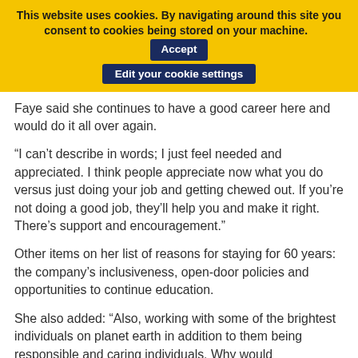This website uses cookies. By navigating around this site you consent to cookies being stored on your machine. Accept | Edit your cookie settings
Faye said she continues to have a good career here and would do it all over again.
“I can’t describe in words; I just feel needed and appreciated. I think people appreciate now what you do versus just doing your job and getting chewed out. If you’re not doing a good job, they’ll help you and make it right. There’s support and encouragement.”
Other items on her list of reasons for staying for 60 years: the company’s inclusiveness, open-door policies and opportunities to continue education.
She also added: “Also, working with some of the brightest individuals on planet earth in addition to them being responsible and caring individuals. Why would